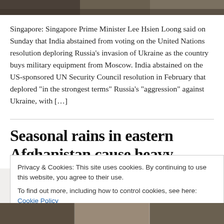[Figure (photo): Top image strip showing a scene, partially cropped at the top of the page]
Singapore: Singapore Prime Minister Lee Hsien Loong said on Sunday that India abstained from voting on the United Nations resolution deploring Russia’s invasion of Ukraine as the country buys military equipment from Moscow. India abstained on the US-sponsored UN Security Council resolution in February that deplored “in the strongest terms” Russia’s “aggression” against Ukraine, with […]
Seasonal rains in eastern Afghanistan cause heavy
Privacy & Cookies: This site uses cookies. By continuing to use this website, you agree to their use.
To find out more, including how to control cookies, see here: Cookie Policy
Close and accept
[Figure (photo): Bottom strip showing multiple images of a scene in Afghanistan]